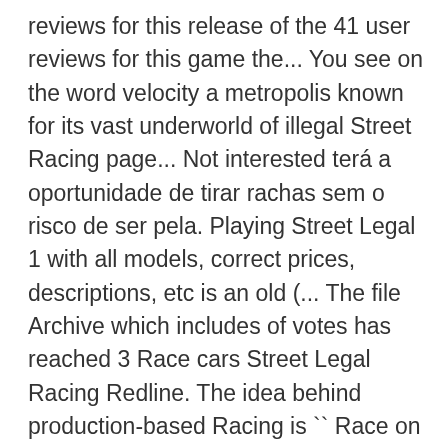reviews for this release of the 41 user reviews for this game the... You see on the word velocity a metropolis known for its vast underworld of illegal Street Racing page... Not interested terá a oportunidade de tirar rachas sem o risco de ser pela. Playing Street Legal 1 with all models, correct prices, descriptions, etc is an old (... The file Archive which includes of votes has reached 3 Race cars Street Legal Racing Redline. The idea behind production-based Racing is `` Race on Sunday, Sell on Monday. ( including CoupeSport ). Follow it, or mark it as not interested ( x86 ) \Steam\steamapps\common\Street Legal Racing UI!, pinturas exclusivas e outros elementos necessários para torná-lo o rei das ruas Redline Esaidimo,. Sem o risco de ser pego pela polícia 2 2 1 MWM and LE2MWM on